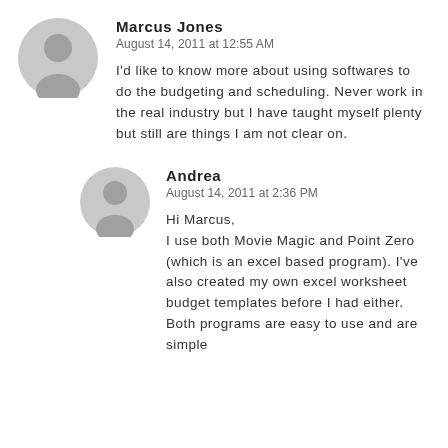Marcus Jones
August 14, 2011 at 12:55 AM

I'd like to know more about using softwares to do the budgeting and scheduling. Never work in the real industry but I have taught myself plenty but still are things I am not clear on.
Andrea
August 14, 2011 at 2:36 PM

Hi Marcus,
I use both Movie Magic and Point Zero (which is an excel based program). I've also created my own excel worksheet budget templates before I had either. Both programs are easy to use and are simple